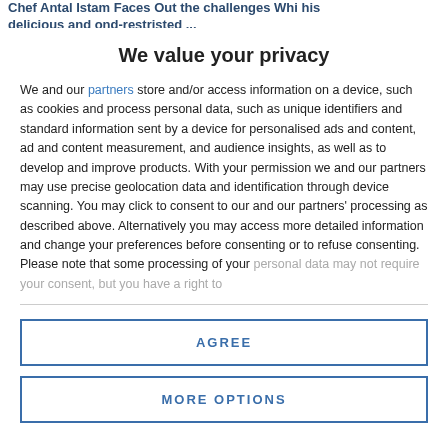Chef Antal Istam Faces Out the challenges Whi his delicious and ond-restristed ...
We value your privacy
We and our partners store and/or access information on a device, such as cookies and process personal data, such as unique identifiers and standard information sent by a device for personalised ads and content, ad and content measurement, and audience insights, as well as to develop and improve products. With your permission we and our partners may use precise geolocation data and identification through device scanning. You may click to consent to our and our partners' processing as described above. Alternatively you may access more detailed information and change your preferences before consenting or to refuse consenting. Please note that some processing of your personal data may not require your consent, but you have a right to
AGREE
MORE OPTIONS